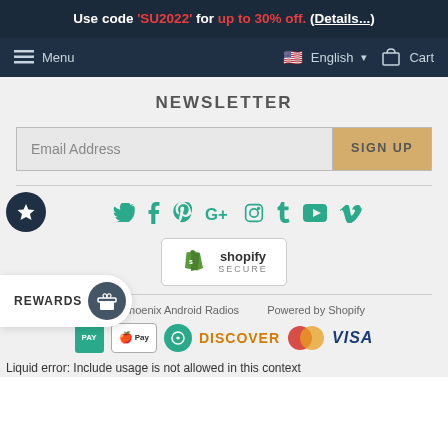Use code 'SU2022' for up to 30% off. (Details...)
Menu   English   Cart
NEWSLETTER
Email Address   SIGN UP
[Figure (other): Social media icons row: Twitter, Facebook, Pinterest, Google+, Instagram, Tumblr, YouTube, Vimeo — all in teal/green color. A dark navy star badge on the left.]
[Figure (logo): Shopify Secure badge with green bag logo and shopify / SECURE text]
© 2022 Phoenix Android Radios   Powered by Shopify
[Figure (logo): Payment method logos: green box, Apple Pay, green circle, DISCOVER, MasterCard circles, VISA]
REWARDS (icon)
Liquid error: Include usage is not allowed in this context